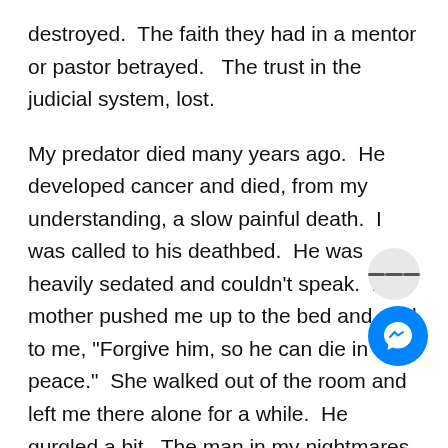destroyed.  The faith they had in a mentor or pastor betrayed.   The trust in the judicial system, lost.
My predator died many years ago.  He developed cancer and died, from my understanding, a slow painful death.  I was called to his deathbed.  He was heavily sedated and couldn't speak.  My mother pushed me up to the bed and said to me, "Forgive him, so he can die in peace."  She walked out of the room and left me there alone for a while.  He gurgled a bit.  The man in my nightmares, the big man who scared me. He